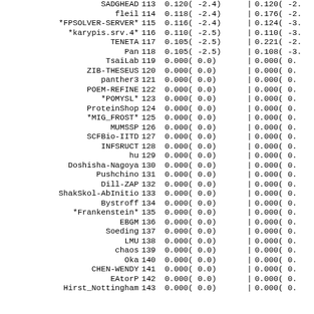| Name | Rank | Col1 | | | Col2 |
| --- | --- | --- | --- | --- |
| SADGHEAD | 113 | 0.120(  -2.4) | | | 0.120(  -2. |
| fleil | 114 | 0.118(  -2.4) | | | 0.176(  -2. |
| *FPSOLVER-SERVER* | 115 | 0.116(  -2.4) | | | 0.124(  -3. |
| *karypis.srv.4* | 116 | 0.110(  -2.5) | | | 0.110(  -3. |
| TENETA | 117 | 0.105(  -2.5) | | | 0.221(  -2. |
| Pan | 118 | 0.105(  -2.5) | | | 0.108(  -3. |
| TsaiLab | 119 | 0.000(   0.0) | | | 0.000(   0. |
| ZIB-THESEUS | 120 | 0.000(   0.0) | | | 0.000(   0. |
| panther3 | 121 | 0.000(   0.0) | | | 0.000(   0. |
| POEM-REFINE | 122 | 0.000(   0.0) | | | 0.000(   0. |
| *POMYSL* | 123 | 0.000(   0.0) | | | 0.000(   0. |
| ProteinShop | 124 | 0.000(   0.0) | | | 0.000(   0. |
| *MIG_FROST* | 125 | 0.000(   0.0) | | | 0.000(   0. |
| MUMSSP | 126 | 0.000(   0.0) | | | 0.000(   0. |
| SCFBio-IITD | 127 | 0.000(   0.0) | | | 0.000(   0. |
| INFSRUCT | 128 | 0.000(   0.0) | | | 0.000(   0. |
| hu | 129 | 0.000(   0.0) | | | 0.000(   0. |
| Doshisha-Nagoya | 130 | 0.000(   0.0) | | | 0.000(   0. |
| Pushchino | 131 | 0.000(   0.0) | | | 0.000(   0. |
| Dill-ZAP | 132 | 0.000(   0.0) | | | 0.000(   0. |
| ShakSkol-AbInitio | 133 | 0.000(   0.0) | | | 0.000(   0. |
| Bystroff | 134 | 0.000(   0.0) | | | 0.000(   0. |
| *Frankenstein* | 135 | 0.000(   0.0) | | | 0.000(   0. |
| EBGM | 136 | 0.000(   0.0) | | | 0.000(   0. |
| Soeding | 137 | 0.000(   0.0) | | | 0.000(   0. |
| LMU | 138 | 0.000(   0.0) | | | 0.000(   0. |
| chaos | 139 | 0.000(   0.0) | | | 0.000(   0. |
| Oka | 140 | 0.000(   0.0) | | | 0.000(   0. |
| CHEN-WENDY | 141 | 0.000(   0.0) | | | 0.000(   0. |
| EAtorP | 142 | 0.000(   0.0) | | | 0.000(   0. |
| Hirst_Nottingham | 143 | 0.000(   0.0) | | | 0.000(   0. |